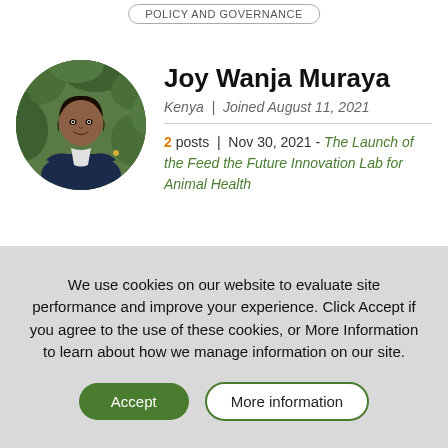POLICY AND GOVERNANCE
[Figure (photo): Circular profile photo of Joy Wanja Muraya, a woman in a dark blazer with arms crossed, standing in front of green foliage]
Joy Wanja Muraya
Kenya | Joined August 11, 2021
2 posts | Nov 30, 2021 - The Launch of the Feed the Future Innovation Lab for Animal Health
We use cookies on our website to evaluate site performance and improve your experience. Click Accept if you agree to the use of these cookies, or More Information to learn about how we manage information on our site.